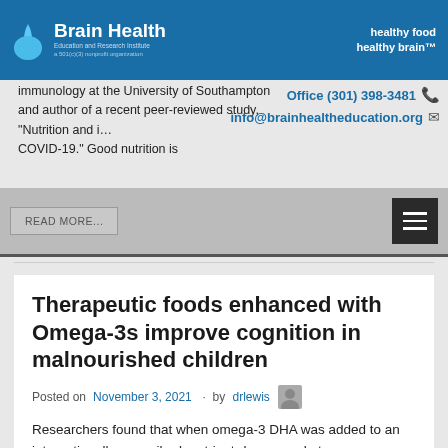Brain Health Education and Research Institute — healthy food healthy brain™
immune functions in addition to things like physical activity, said Dr. Philip Calder, professor of nutritional immunology at the University of Southampton and author of a recent peer-reviewed study, "Nutrition and immunity: lessons for COVID-19." Good nutrition is
Office (301) 398-3481
info@brainhealtheducation.org
READ MORE...
Therapeutic foods enhanced with Omega-3s improve cognition in malnourished children
Posted on November 3, 2021 · by drlewis
Researchers found that when omega-3 DHA was added to an internationally prescribed, nutrient-dense ready-to-use therapeutic food (RUTF) similar to peanut butter, the children's overall cognition improved. The kids who ate the DHA-fortified food